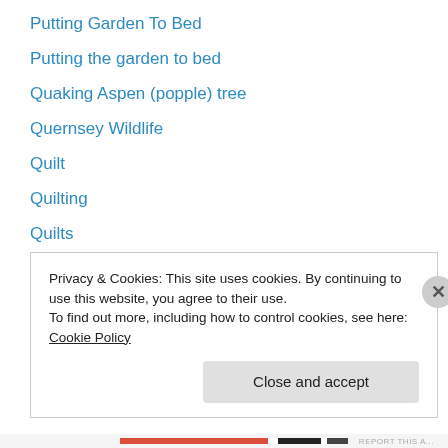Putting Garden To Bed
Putting the garden to bed
Quaking Aspen (popple) tree
Quernsey Wildlife
Quilt
Quilting
Quilts
Radio
Rain
Rain forest
Rainy Day Tales
Raised Bed Gardens
Rancho Margot
Privacy & Cookies: This site uses cookies. By continuing to use this website, you agree to their use.
To find out more, including how to control cookies, see here: Cookie Policy
Close and accept